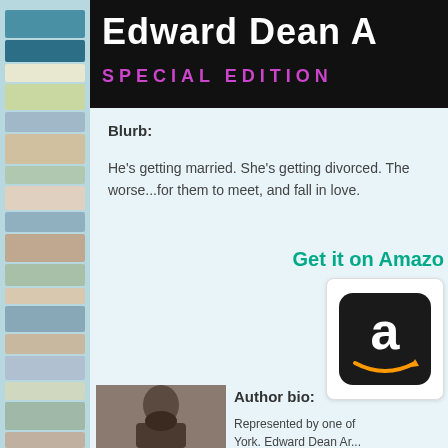[Figure (photo): Book cover with 'Edward Dean A' text and 'SPECIAL EDITION' subtitle on black background]
Blurb:
He's getting married. She's getting divorced. The...worse...for them to meet, and fall in love.
Get it on Amazo...
[Figure (logo): Amazon 'a' logo icon on black rounded square background with orange smile arrow]
[Figure (photo): Author photo showing a man with beard]
Author bio:
Represented by one of... York. Edward Dean Ar...